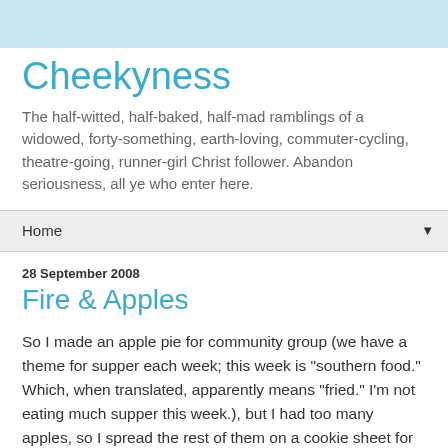Cheekyness
The half-witted, half-baked, half-mad ramblings of a widowed, forty-something, earth-loving, commuter-cycling, theatre-going, runner-girl Christ follower. Abandon seriousness, all ye who enter here.
Home
28 September 2008
Fire & Apples
So I made an apple pie for community group (we have a theme for supper each week; this week is "southern food." Which, when translated, apparently means "fried." I'm not eating much supper this week.), but I had too many apples, so I spread the rest of them on a cookie sheet for baked apples, which Chad & I like. Then, the juice oozed all over the place, including the bottom of the oven, so that when I